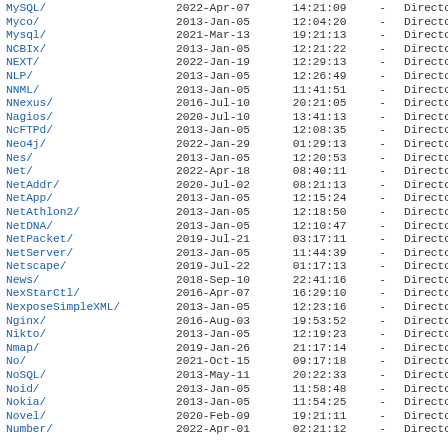| Name | Date | Time | Size | Type |
| --- | --- | --- | --- | --- |
| MySQL/ | 2022-Apr-07 | 14:21:09 | - | Directory |
| Myco/ | 2013-Jan-05 | 12:04:20 | - | Directory |
| Mysql/ | 2021-Mar-13 | 19:21:13 | - | Directory |
| NCBIx/ | 2013-Jan-05 | 12:21:22 | - | Directory |
| NEXT/ | 2022-Jan-19 | 12:29:13 | - | Directory |
| NLP/ | 2013-Jan-05 | 12:26:49 | - | Directory |
| NNML/ | 2013-Jan-05 | 11:41:51 | - | Directory |
| NNexus/ | 2016-Jul-10 | 20:21:05 | - | Directory |
| Nagios/ | 2020-Jul-10 | 13:41:13 | - | Directory |
| NcFTPd/ | 2013-Jan-05 | 12:08:35 | - | Directory |
| Neo4j/ | 2022-Jan-29 | 01:29:13 | - | Directory |
| Nes/ | 2013-Jan-05 | 12:20:53 | - | Directory |
| Net/ | 2022-Apr-18 | 08:40:11 | - | Directory |
| NetAddr/ | 2020-Jul-02 | 08:21:13 | - | Directory |
| NetApp/ | 2013-Jan-05 | 12:15:24 | - | Directory |
| NetAthlon2/ | 2013-Jan-05 | 12:18:50 | - | Directory |
| NetDNA/ | 2013-Jan-05 | 12:10:47 | - | Directory |
| NetPacket/ | 2019-Jul-21 | 03:17:11 | - | Directory |
| NetServer/ | 2013-Jan-05 | 11:44:39 | - | Directory |
| Netscape/ | 2019-Jul-22 | 01:17:13 | - | Directory |
| News/ | 2018-Sep-10 | 22:41:16 | - | Directory |
| NexStarCtl/ | 2016-Apr-07 | 16:29:10 | - | Directory |
| NexposeSimpleXML/ | 2013-Jan-05 | 12:23:16 | - | Directory |
| Nginx/ | 2016-Aug-03 | 19:53:52 | - | Directory |
| Nikto/ | 2013-Jan-05 | 12:19:23 | - | Directory |
| Nmap/ | 2019-Jan-26 | 21:17:14 | - | Directory |
| No/ | 2021-Oct-15 | 09:17:18 | - | Directory |
| NoSQL/ | 2013-May-11 | 20:22:33 | - | Directory |
| Noid/ | 2013-Jan-05 | 11:58:48 | - | Directory |
| Nokia/ | 2013-Jan-05 | 11:54:25 | - | Directory |
| Novel/ | 2020-Feb-09 | 19:21:11 | - | Directory |
| Number/ | 2022-Apr-01 | 02:21:12 | - | Directory |